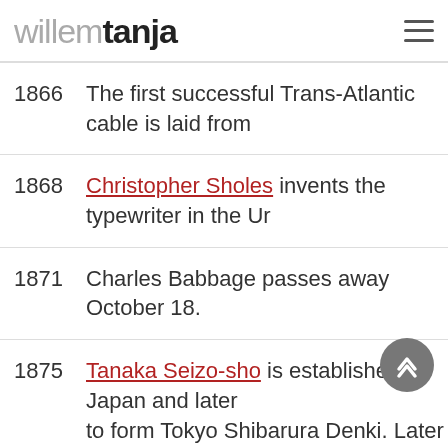willemtanja
1866 — The first successful Trans-Atlantic cable is laid from...
1868 — Christopher Sholes invents the typewriter in the U...
1871 — Charles Babbage passes away October 18.
1875 — Tanaka Seizo-sho is established in Japan and later... to form Tokyo Shibarura Denki. Later this companie...
1876 — Alexander Graham Bell is often credited as inventin...
1877 — The microphone is invented in the by Emil...ine...
Thomas Edison invents and announces on Novem...